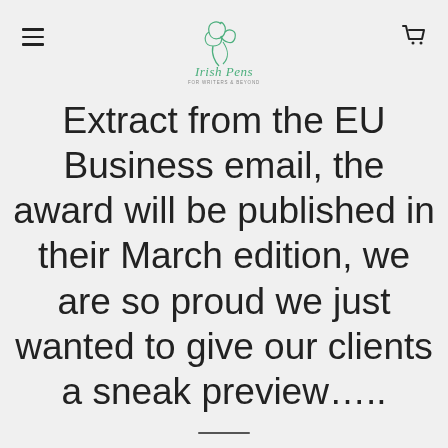Irish Pens
Extract from the EU Business email, the award will be published in their March edition, we are so proud we just wanted to give our clients a sneak preview….